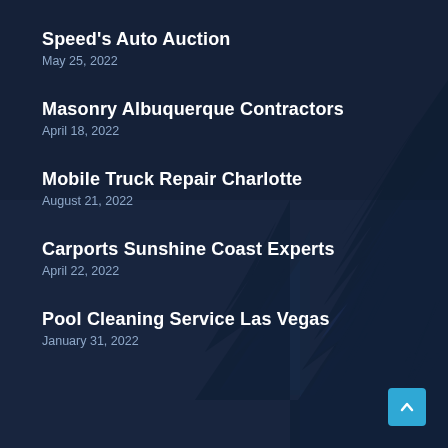Speed's Auto Auction
May 25, 2022
Masonry Albuquerque Contractors
April 18, 2022
Mobile Truck Repair Charlotte
August 21, 2022
Carports Sunshine Coast Experts
April 22, 2022
Pool Cleaning Service Las Vegas
January 31, 2022